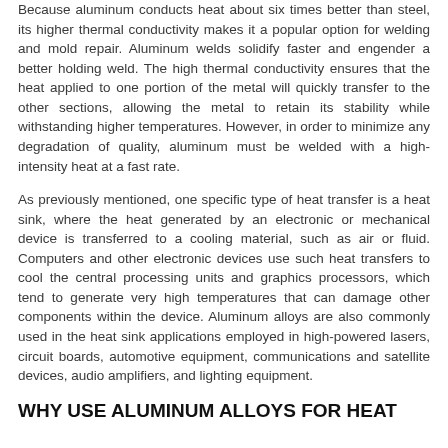Because aluminum conducts heat about six times better than steel, its higher thermal conductivity makes it a popular option for welding and mold repair. Aluminum welds solidify faster and engender a better holding weld. The high thermal conductivity ensures that the heat applied to one portion of the metal will quickly transfer to the other sections, allowing the metal to retain its stability while withstanding higher temperatures. However, in order to minimize any degradation of quality, aluminum must be welded with a high-intensity heat at a fast rate.
As previously mentioned, one specific type of heat transfer is a heat sink, where the heat generated by an electronic or mechanical device is transferred to a cooling material, such as air or fluid. Computers and other electronic devices use such heat transfers to cool the central processing units and graphics processors, which tend to generate very high temperatures that can damage other components within the device. Aluminum alloys are also commonly used in the heat sink applications employed in high-powered lasers, circuit boards, automotive equipment, communications and satellite devices, audio amplifiers, and lighting equipment.
WHY USE ALUMINUM ALLOYS FOR HEAT